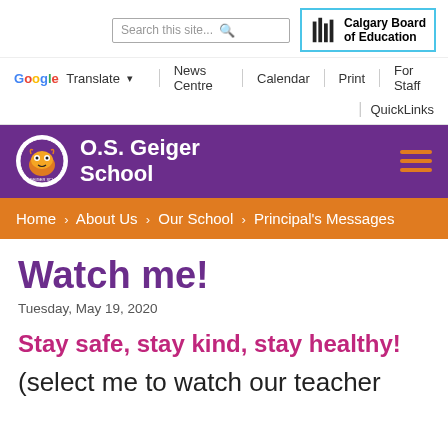Search this site... | Calgary Board of Education
Google Translate | News Centre | Calendar | Print | For Staff | QuickLinks
[Figure (logo): O.S. Geiger School purple banner with school logo (tiger mascot) and hamburger menu icon]
Home > About Us > Our School > Principal's Messages
Watch me!
Tuesday, May 19, 2020
Stay safe, stay kind, stay healthy!
(select me to watch our teacher